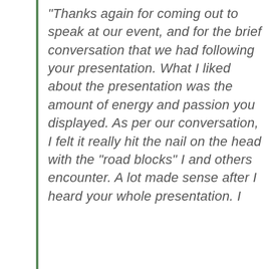“Thanks again for coming out to speak at our event, and for the brief conversation that we had following your presentation. What I liked about the presentation was the amount of energy and passion you displayed. As per our conversation, I felt it really hit the nail on the head with the “road blocks” I and others encounter. A lot made sense after I heard your whole presentation. I